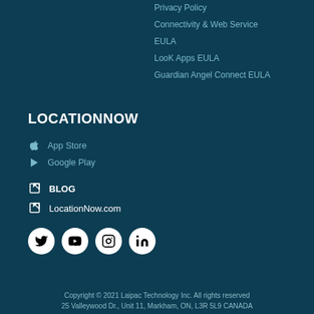Privacy Policy
Connectivity & Web Service
EULA
LooK Apps EULA
Guardian Angel Connect EULA
LOCATIONNOW
App Store
Google Play
BLOG
LocationNow.com
[Figure (infographic): Social media icons row: Twitter, YouTube, Instagram, LinkedIn]
Copyright © 2021 Laipac Technology Inc. All rights reserved
25 Valleywood Dr., Unit 11, Markham, ON, L3R 5L9 CANADA